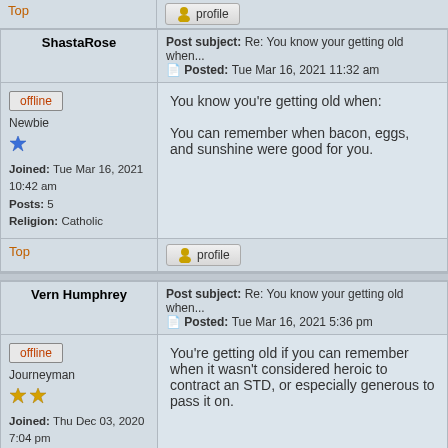Top | profile
ShastaRose
Post subject: Re: You know your getting old when... Posted: Tue Mar 16, 2021 11:32 am
offline
Newbie
Joined: Tue Mar 16, 2021 10:42 am
Posts: 5
Religion: Catholic
You know you're getting old when:

You can remember when bacon, eggs, and sunshine were good for you.
Top | profile
Vern Humphrey
Post subject: Re: You know your getting old when... Posted: Tue Mar 16, 2021 5:36 pm
offline
Journeyman
Joined: Thu Dec 03, 2020 7:04 pm
Posts: 731
Location: Arkansas Ozarks
Religion: Catholic
Church Affiliations: 4th KofC
You're getting old if you can remember when it wasn't considered heroic to contract an STD, or especially generous to pass it on.
Top | profile